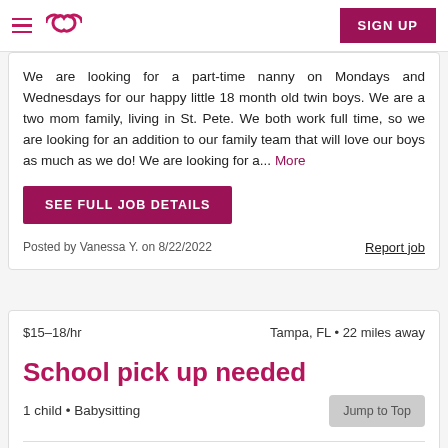Sittercity navigation bar with hamburger menu, logo, and SIGN UP button
We are looking for a part-time nanny on Mondays and Wednesdays for our happy little 18 month old twin boys. We are a two mom family, living in St. Pete. We both work full time, so we are looking for an addition to our family team that will love our boys as much as we do! We are looking for a... More
SEE FULL JOB DETAILS
Posted by Vanessa Y. on 8/22/2022
Report job
$15–18/hr   Tampa, FL • 22 miles away
School pick up needed
1 child • Babysitting
Jump to Top